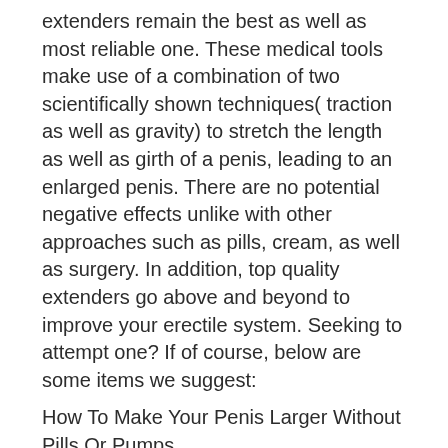extenders remain the best as well as most reliable one. These medical tools make use of a combination of two scientifically shown techniques( traction as well as gravity) to stretch the length as well as girth of a penis, leading to an enlarged penis. There are no potential negative effects unlike with other approaches such as pills, cream, as well as surgery. In addition, top quality extenders go above and beyond to improve your erectile system. Seeking to attempt one? If of course, below are some items we suggest:
How To Make Your Penis Larger Without Pills Or Pumps
1. Quick Extender Pro (Guaranteed To Work)